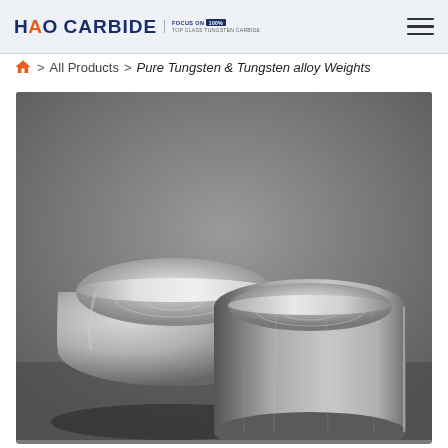HAO CARBIDE | FOCUS ON [TOP CLASS TUNGSTEN CARBIDE]
All Products > Pure Tungsten & Tungsten alloy Weights
[Figure (photo): Two cylindrical tungsten alloy cup-shaped weights photographed on a grey background. One is tilted showing its interior hollow, the other stands upright. Both have a brushed metallic silver finish.]